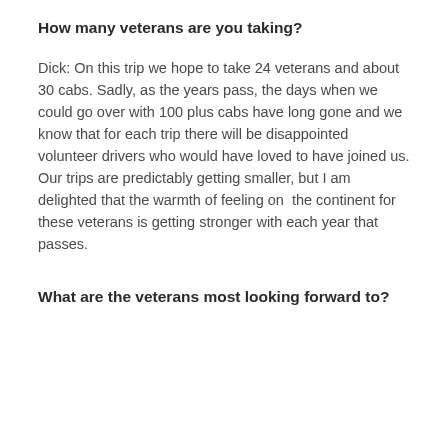How many veterans are you taking?
Dick: On this trip we hope to take 24 veterans and about 30 cabs. Sadly, as the years pass, the days when we could go over with 100 plus cabs have long gone and we know that for each trip there will be disappointed volunteer drivers who would have loved to have joined us. Our trips are predictably getting smaller, but I am delighted that the warmth of feeling on  the continent for these veterans is getting stronger with each year that passes.
What are the veterans most looking forward to?